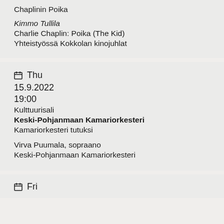Chaplinin Poika
Kimmo Tullila
Charlie Chaplin: Poika (The Kid)
Yhteistyössä Kokkolan kinojuhlat
Thu
15.9.2022
19:00
Kulttuurisali
Keski-Pohjanmaan Kamariorkesteri
Kamariorkesteri tutuksi

Virva Puumala, sopraano
Keski-Pohjanmaan Kamariorkesteri
Fri